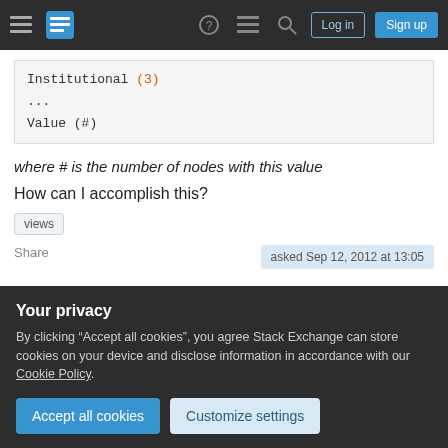Stack Exchange navigation bar with Log in and Sign up buttons
Institutional (3)
...
Value (#)
where # is the number of nodes with this value
How can I accomplish this?
views
Share
asked Sep 12, 2012 at 13:05
Your privacy
By clicking "Accept all cookies", you agree Stack Exchange can store cookies on your device and disclose information in accordance with our Cookie Policy.
Accept all cookies
Customize settings
Highest score (default)